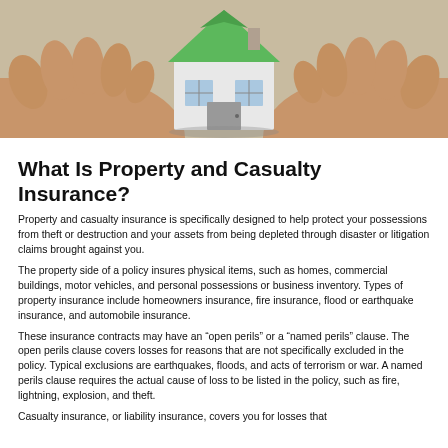[Figure (photo): Photograph of two hands cupping a small white house model with a green roof, suggesting home protection and insurance coverage.]
What Is Property and Casualty Insurance?
Property and casualty insurance is specifically designed to help protect your possessions from theft or destruction and your assets from being depleted through disaster or litigation claims brought against you.
The property side of a policy insures physical items, such as homes, commercial buildings, motor vehicles, and personal possessions or business inventory. Types of property insurance include homeowners insurance, fire insurance, flood or earthquake insurance, and automobile insurance.
These insurance contracts may have an “open perils” or a “named perils” clause. The open perils clause covers losses for reasons that are not specifically excluded in the policy. Typical exclusions are earthquakes, floods, and acts of terrorism or war. A named perils clause requires the actual cause of loss to be listed in the policy, such as fire, lightning, explosion, and theft.
Casualty insurance, or liability insurance, covers you for losses that